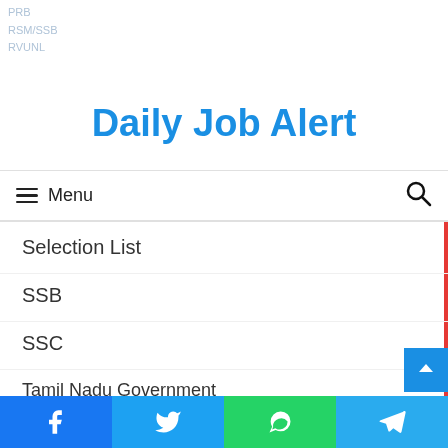PRB
RSM/SSB
RVUNL
Daily Job Alert
≡ Menu
Selection List
SSB
SSC
Tamil Nadu Government
Teacher Jobs
Telangana Government
Telangana State
TNPSC
TPSC
Facebook  Twitter  WhatsApp  Telegram